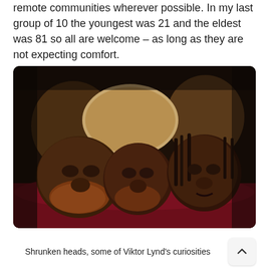remote communities wherever possible. In my last group of 10 the youngest was 21 and the eldest was 81 so all are welcome – as long as they are not expecting comfort.
[Figure (photo): A photograph of shrunken heads and animal skulls arranged on a dark red surface, described as some of Viktor Lynd's curiosities.]
Shrunken heads, some of Viktor Lynd's curiosities